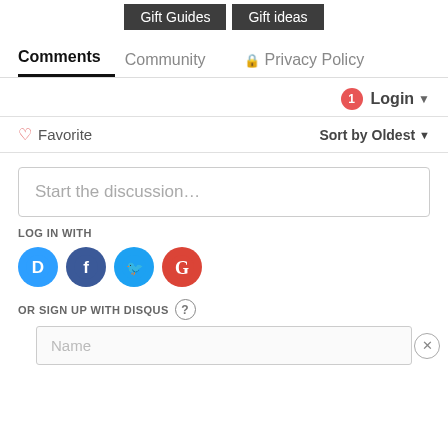Gift Guides | Gift ideas
Comments | Community | Privacy Policy
Login ▾
♡ Favorite   Sort by Oldest ▾
Start the discussion...
LOG IN WITH
[Figure (infographic): Four social login icons: Disqus (D), Facebook (f), Twitter (bird), Google (G)]
OR SIGN UP WITH DISQUS ?
Name